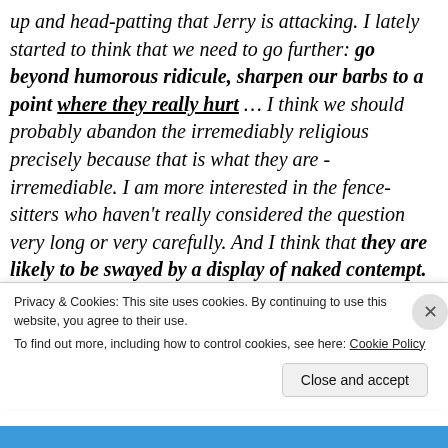up and head-patting that Jerry is attacking. I lately started to think that we need to go further: go beyond humorous ridicule, sharpen our barbs to a point where they really hurt ... I think we should probably abandon the irremediably religious precisely because that is what they are - irremediable. I am more interested in the fence-sitters who haven't really considered the question very long or very carefully. And I think that they are likely to be swayed by a display of naked contempt. Nobody likes to be laughed at. Nobody
Privacy & Cookies: This site uses cookies. By continuing to use this website, you agree to their use.
To find out more, including how to control cookies, see here: Cookie Policy